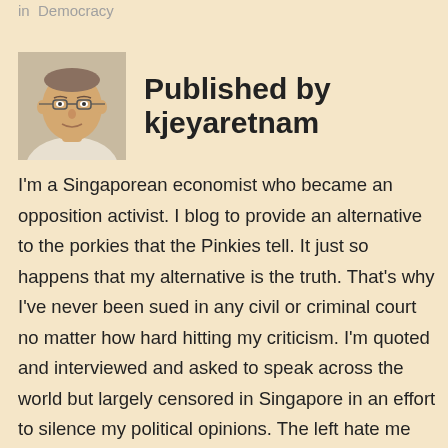in  Democracy
[Figure (photo): Headshot photo of a middle-aged man wearing glasses, in a light-colored shirt, cropped portrait.]
Published by kjeyaretnam
I'm a Singaporean economist who became an opposition activist. I blog to provide an alternative to the porkies that the Pinkies tell. It just so happens that my alternative is the truth. That's why I've never been sued in any civil or criminal court no matter how hard hitting my criticism. I'm quoted and interviewed and asked to speak across the world but largely censored in Singapore in an effort to silence my political opinions. The left hate me because they think I split their vote and because I eschew their outmoded economic models. Models that don't work. The Right and the Conservatives hate me because I'm a liberal. I'm not sure what the middle think of me. I don't think there are more than a handful of people